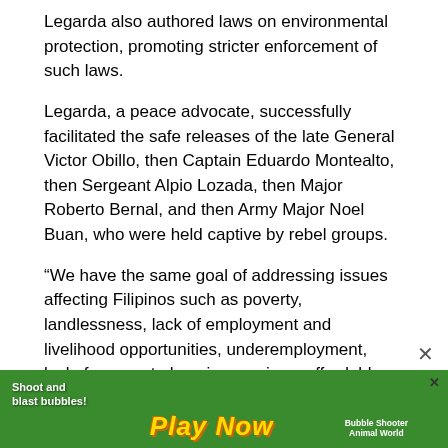Legarda also authored laws on environmental protection, promoting stricter enforcement of such laws.
Legarda, a peace advocate, successfully facilitated the safe releases of the late General Victor Obillo, then Captain Eduardo Montealto, then Sergeant Alpio Lozada, then Major Roberto Bernal, and then Army Major Noel Buan, who were held captive by rebel groups.
“We have the same goal of addressing issues affecting Filipinos such as poverty, landlessness, lack of employment and livelihood opportunities, underemployment, lackof access to housing services, affordable health care, education and other social services, corruption, environmental degradation, among many others,” the senatorial aspirant pointed out.
[Figure (screenshot): Mobile game advertisement banner showing 'Shoot and blast bubbles! Play Now' with colorful cartoon characters and 'Bubble Shooter Animal World' text on a green background.]